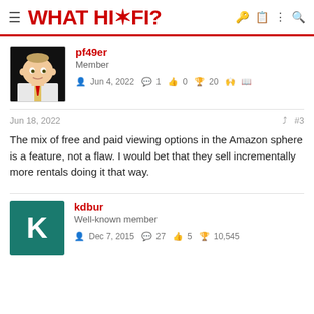WHAT HI*FI?
pf49er
Member
Jun 4, 2022  1  0  20
Jun 18, 2022  #3
The mix of free and paid viewing options in the Amazon sphere is a feature, not a flaw. I would bet that they sell incrementally more rentals doing it that way.
kdbur
Well-known member
Dec 7, 2015  27  5  10,545